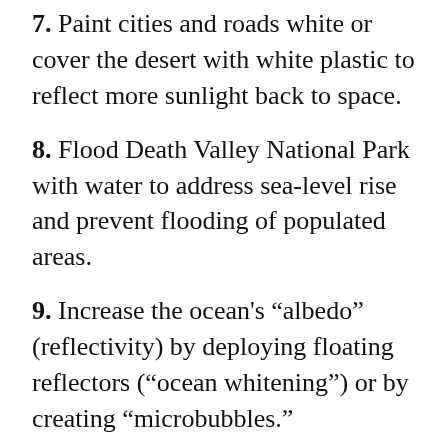7. Paint cities and roads white or cover the desert with white plastic to reflect more sunlight back to space.
8. Flood Death Valley National Park with water to address sea-level rise and prevent flooding of populated areas.
9. Increase the ocean's “albedo” (reflectivity) by deploying floating reflectors (“ocean whitening”) or by creating “microbubbles.”
10. Genetically engineer crops to grow pale in color, reflecting sunlight back